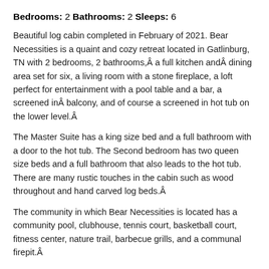Bedrooms: 2 Bathrooms: 2 Sleeps: 6
Beautiful log cabin completed in February of 2021. Bear Necessities is a quaint and cozy retreat located in Gatlinburg, TN with 2 bedrooms, 2 bathrooms,Â a full kitchen andÂ dining area set for six, a living room with a stone fireplace, a loft perfect for entertainment with a pool table and a bar, a screened inÂ balcony, and of course a screened in hot tub on the lower level.Â
The Master Suite has a king size bed and a full bathroom with a door to the hot tub. The Second bedroom has two queen size beds and a full bathroom that also leads to the hot tub. There are many rustic touches in the cabin such as wood throughout and hand carved log beds.Â
The community in which Bear Necessities is located has a community pool, clubhouse, tennis court, basketball court, fitness center, nature trail, barbecue grills, and a communal firepit.Â